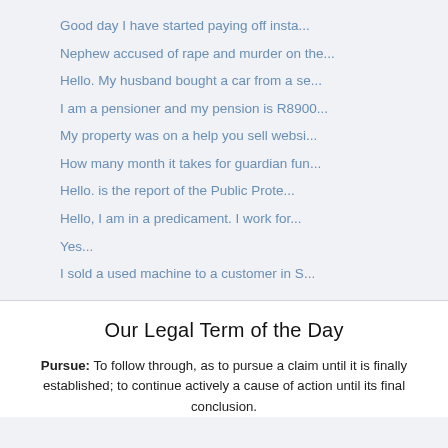Good day I have started paying off insta...
Nephew accused of rape and murder on the...
Hello. My husband bought a car from a se...
I am a pensioner and my pension is R8900...
My property was on a help you sell websi...
How many month it takes for guardian fun...
Hello. is the report of the Public Prote...
Hello, I am in a predicament. I work for...
Yes...
I sold a used machine to a customer in S...
Our Legal Term of the Day
Pursue: To follow through, as to pursue a claim until it is finally established; to continue actively a cause of action until its final conclusion.